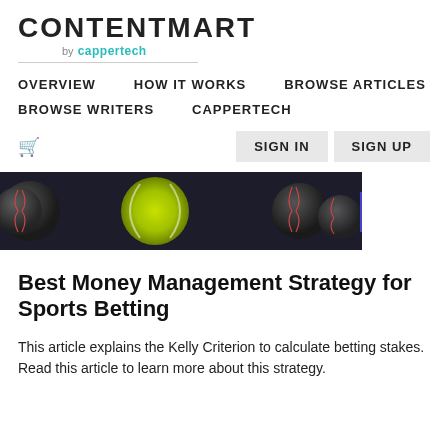[Figure (logo): CONTENTMART by cappertech logo with horizontal rule]
OVERVIEW   HOW IT WORKS   BROWSE ARTICLES   BROWSE WRITERS   CAPPERTECH   SIGN IN   SIGN UP
[Figure (photo): Dark background with a yellow tennis ball and two baseballs in a sports-themed hero image]
Best Money Management Strategy for Sports Betting
This article explains the Kelly Criterion to calculate betting stakes. Read this article to learn more about this strategy.